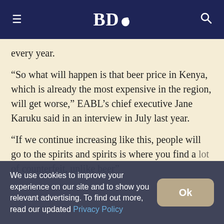BDO
every year.
“So what will happen is that beer price in Kenya, which is already the most expensive in the region, will get worse,” EABL’s chief executive Jane Karuku said in an interview in July last year.
“If we continue increasing like this, people will go to the spirits and spirits is where you find a lot of counterfeit, unlike beer”
We use cookies to improve your experience on our site and to show you relevant advertising. To find out more, read our updated Privacy Policy